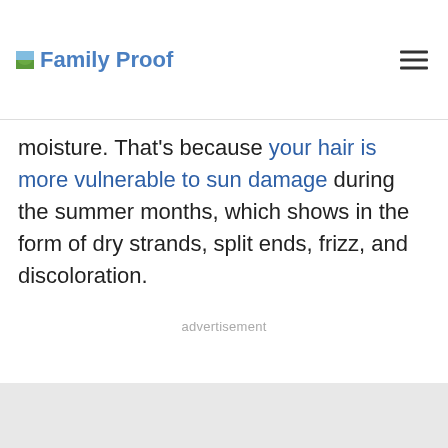Family Proof
moisture. That’s because your hair is more vulnerable to sun damage during the summer months, which shows in the form of dry strands, split ends, frizz, and discoloration.
advertisement